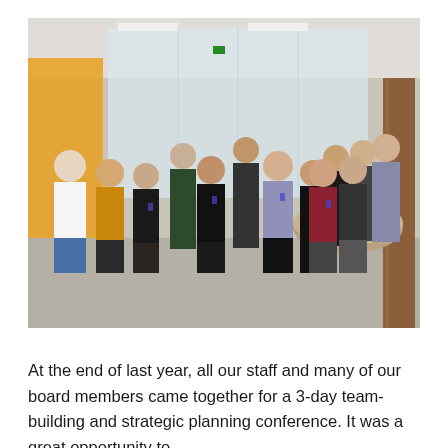[Figure (photo): Group photo of approximately 14 staff members and board members posing together inside a modern building with glass walls, a circular wooden fixture, and yellow accent walls in the background.]
At the end of last year, all our staff and many of our board members came together for a 3-day team-building and strategic planning conference. It was a great opportunity to